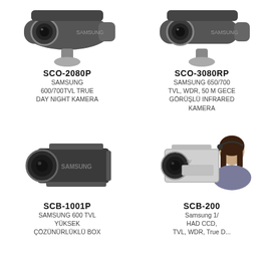[Figure (photo): Samsung SCO-2080P bullet-style security camera, dark gray, mounted on bracket]
SCO-2080P
SAMSUNG 600/700TVL TRUE DAY NIGHT KAMERA
[Figure (photo): Samsung SCO-3080RP bullet-style security camera, dark gray, mounted on bracket]
SCO-3080RP
SAMSUNG 650/700 TVL, WDR, 50 M GECE GÖRÜŞLÜ INFRARED KAMERA
[Figure (photo): Samsung SCB-1001P box-style security camera, dark gray, with lens]
SCB-1001P
SAMSUNG 600 TVL YÜKSEK ÇÖZÜNÜRLÜKLÜ BOX
[Figure (photo): Samsung SCB-2000 box-style security camera, white/silver, with person wearing headset in background]
SCB-2000
Samsung 1/3 HAD CCD, TVL, WDR, True Day